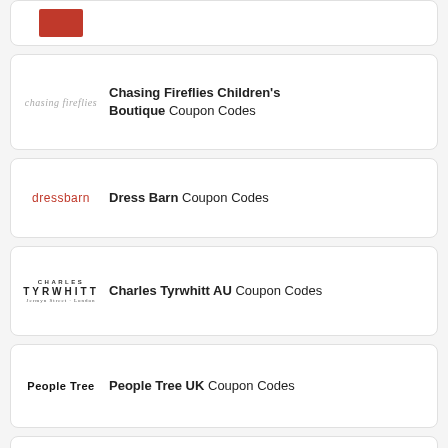(partial card top — red logo, partial title text)
Chasing Fireflies Children's Boutique Coupon Codes
Dress Barn Coupon Codes
Charles Tyrwhitt AU Coupon Codes
People Tree UK Coupon Codes
(partial card bottom — logo partial)